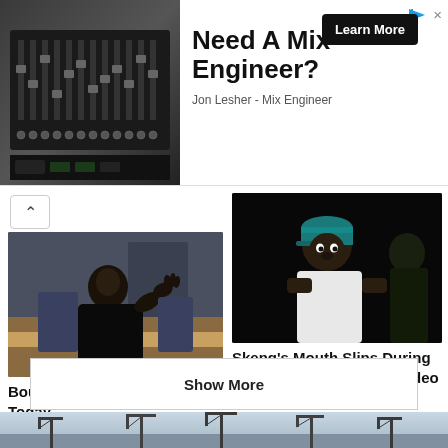[Figure (photo): Advertisement banner for Jon Lesher Mix Engineer service with photo of audio mixing board on left, bold text 'Need A Mix Engineer?' with Learn More button, and subtitle 'Jon Lesher - Mix Engineer']
[Figure (photo): News thumbnail: Bounty Killer sitting at a table gesturing with hand, in a studio or office setting]
Bounty Killer Files Defence Today
August 17, 2022
[Figure (photo): News thumbnail: Skeng wearing a teal cap and gold chain necklace, with other people in background]
Skeng's Mouth Slips During Performance? – Watch Video
August 16, 2022
Show More
Taboola Feed
[Figure (photo): Bottom advertisement strip showing industrial port cranes along a waterfront]